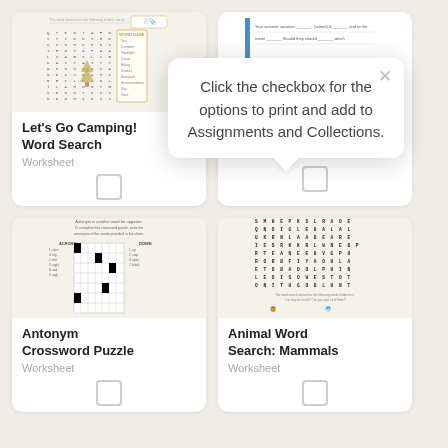[Figure (screenshot): Thumbnail of Let's Go Camping Word Search worksheet with word search grid and word bank]
Let's Go Camping! Word Search
Worksheet
[Figure (screenshot): Thumbnail of a summer vacation fill-in-the-blank worksheet]
Worksheet
[Figure (other): Tooltip popup: Click the checkbox for the options to print and add to Assignments and Collections.]
[Figure (screenshot): Thumbnail of Antonym Crossword Puzzle worksheet]
Antonym Crossword Puzzle
Worksheet
[Figure (screenshot): Thumbnail of Animal Word Search: Mammals worksheet with letter grid and animal images]
Animal Word Search: Mammals
Worksheet